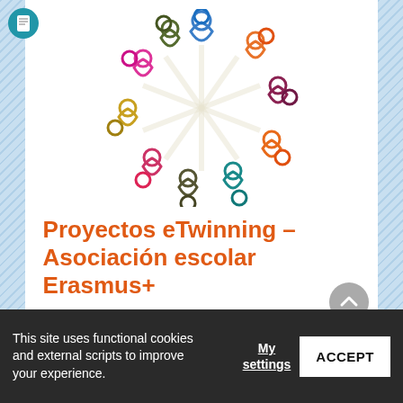[Figure (logo): Circular logo of colorful hand-drawn people holding hands in a circle, in various colors (blue, orange, pink, green, red, yellow, teal, purple)]
Proyectos eTwinning – Asociación escolar Erasmus+
ETWINNING KITS  FEATURED PROJECTS
This site uses functional cookies and external scripts to improve your experience.
My settings  ACCEPT